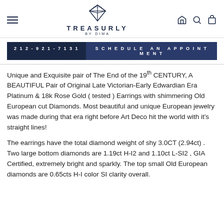[Figure (logo): Treasurly by Dima logo with diamond icon and navigation icons (home, search, cart) and hamburger menu]
212-921-7131   SCHEDULE AN APPOINTMENT
Unique and Exquisite pair of The End of the 19th CENTURY, A BEAUTIFUL Pair of Original Late Victorian-Early Edwardian Era Platinum & 18k Rose Gold ( tested ) Earrings with shimmering Old European cut Diamonds. Most beautiful and unique European jewelry was made during that era right before Art Deco hit the world with it's straight lines!
The earrings have the total diamond weight of shy 3.0CT (2.94ct) . Two large bottom diamonds are 1.19ct H-I2 and 1.10ct L-SI2 , GIA Certified, extremely bright and sparkly. The top small Old European diamonds are 0.65cts H-I color SI clarity overall.